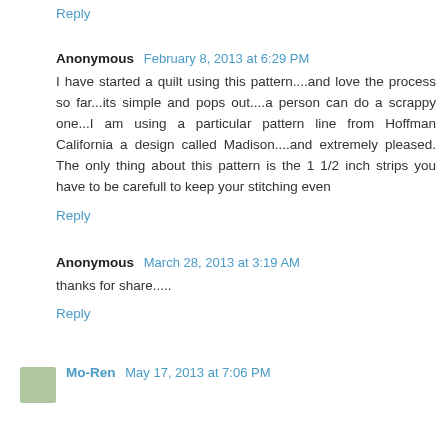Reply
Anonymous February 8, 2013 at 6:29 PM
I have started a quilt using this pattern....and love the process so far...its simple and pops out....a person can do a scrappy one...I am using a particular pattern line from Hoffman California a design called Madison....and extremely pleased. The only thing about this pattern is the 1 1/2 inch strips you have to be carefull to keep your stitching even
Reply
Anonymous March 28, 2013 at 3:19 AM
thanks for share.....
Reply
Mo-Ren May 17, 2013 at 7:06 PM